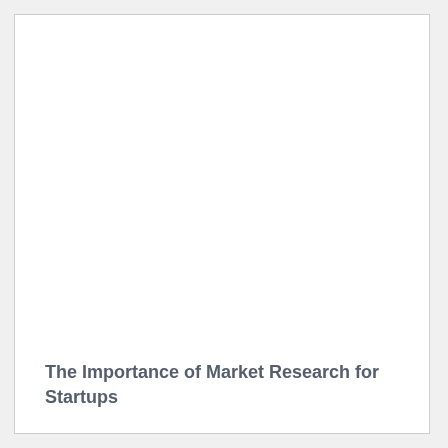The Importance of Market Research for Startups